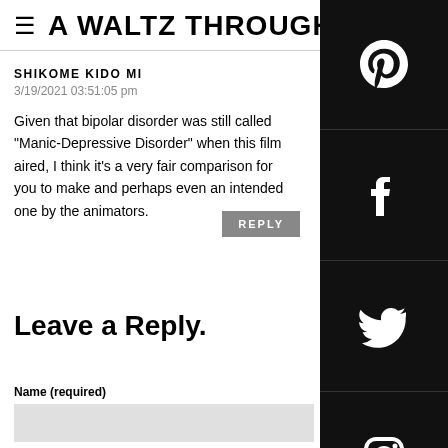≡ A WALTZ THROUGH
SHIKOME KIDO MI
3/19/2021 03:51:05 pm
Given that bipolar disorder was still called "Manic-Depressive Disorder" when this film aired, I think it's a very fair comparison for you to make and perhaps even an intended one by the animators.
Leave a Reply.
Name (required)